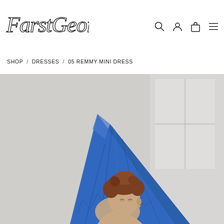[Figure (logo): FarstGeorgia handwritten script logo]
SHOP / DRESSES / 05 REMMY MINI DRESS
[Figure (photo): Fashion photo: person holding a large blue crinkled fabric/tarp against a light grey studio background with window light]